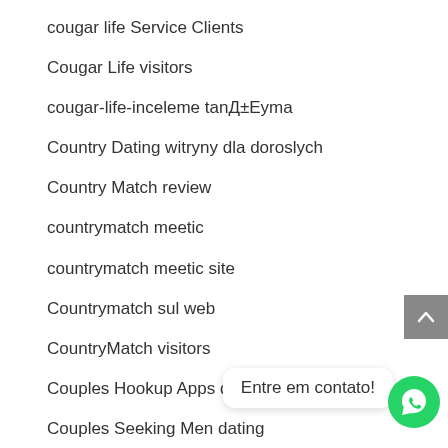cougar life Service Clients
Cougar Life visitors
cougar-life-inceleme tanД±Еуma
Country Dating witryny dla doroslych
Country Match review
countrymatch meetic
countrymatch meetic site
Countrymatch sul web
CountryMatch visitors
Couples Hookup Apps dating
Couples Seeking Men dating
couples seekin… e
Couples Seeking Men review
Entre em contato!